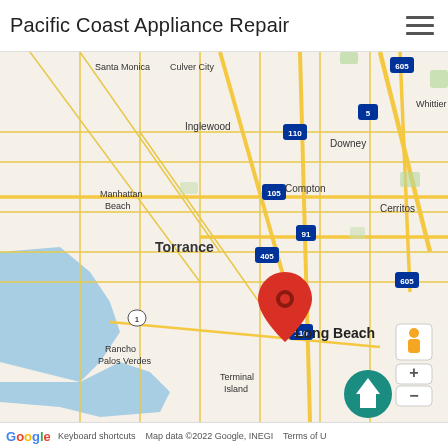Pacific Coast Appliance Repair
[Figure (map): Google Map showing the Los Angeles/Long Beach area with a red location pin dropped on Long Beach. Map shows surrounding cities including Santa Monica, Culver City, Inglewood, Manhattan Beach, Torrance, Compton, Downey, Whittier, Cerritos, Rancho Palos Verdes, Terminal Island. Highways visible include I-5, I-605, I-405, I-110, I-105, I-91, Route 1. Google Maps controls visible in lower right including zoom +/- and Street View person icon. Teal scroll-to-top button visible. Map data copyright 2022 Google INEGI.]
Keyboard shortcuts  Map data ©2022 Google, INEGI  Terms of U